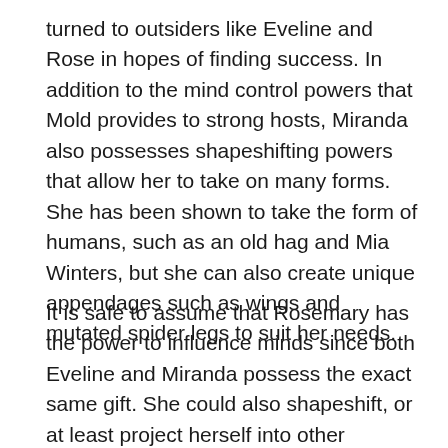turned to outsiders like Eveline and Rose in hopes of finding success. In addition to the mind control powers that Mold provides to strong hosts, Miranda also possesses shapeshifting powers that allow her to take on many forms. She has been shown to take the form of humans, such as an old hag and Mia Winters, but she can also create unique appendages such as wings and mutated spider legs to suit her needs.
It is safe to assume that Rosemary has the power to influence minds since both Eveline and Miranda possess the exact same gift. She could also shapeshift, or at least project herself into other people's minds in a different way than Eveline did. The Shadows of Rose trailer shows Rosemary as a teenager as she moves through the minds of several